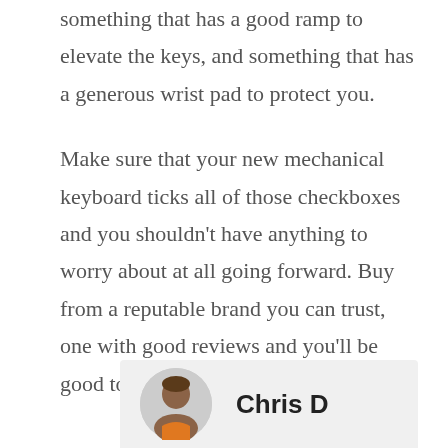something that has a good ramp to elevate the keys, and something that has a generous wrist pad to protect you.

Make sure that your new mechanical keyboard ticks all of those checkboxes and you shouldn't have anything to worry about at all going forward. Buy from a reputable brand you can trust, one with good reviews and you'll be good to go!
Chris D